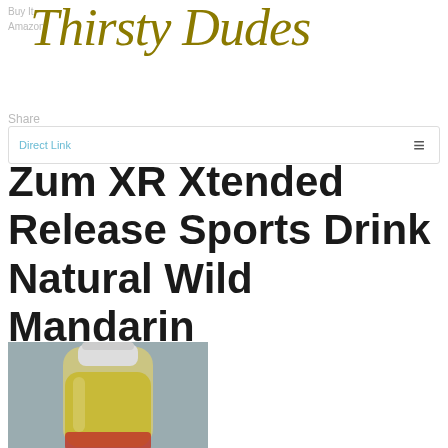Thirsty Dudes
Buy It
Amazon
Share
Direct Link
Zum XR Xtended Release Sports Drink Natural Wild Mandarin
[Figure (photo): A bottle of Zum XR Xtended Release Sports Drink, Natural Wild Mandarin flavor, showing a clear plastic bottle with yellowish-orange liquid and a white cap, partially visible red label at bottom.]